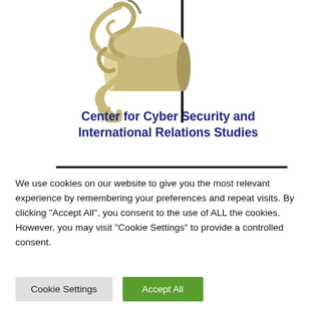[Figure (logo): CCSI logo: stylized golden/tan snake or rope coiled around a cylindrical object, with a vertical black line to the right]
Center for Cyber Security and International Relations Studies
We use cookies on our website to give you the most relevant experience by remembering your preferences and repeat visits. By clicking “Accept All”, you consent to the use of ALL the cookies. However, you may visit "Cookie Settings" to provide a controlled consent.